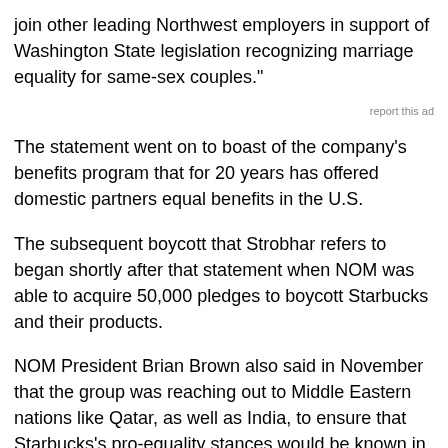join other leading Northwest employers in support of Washington State legislation recognizing marriage equality for same-sex couples."
report this ad
The statement went on to boast of the company's benefits program that for 20 years has offered domestic partners equal benefits in the U.S.
The subsequent boycott that Strobhar refers to began shortly after that statement when NOM was able to acquire 50,000 pledges to boycott Starbucks and their products.
NOM President Brian Brown also said in November that the group was reaching out to Middle Eastern nations like Qatar, as well as India, to ensure that Starbucks's pro-equality stances would be known in countries opposed to same-sex